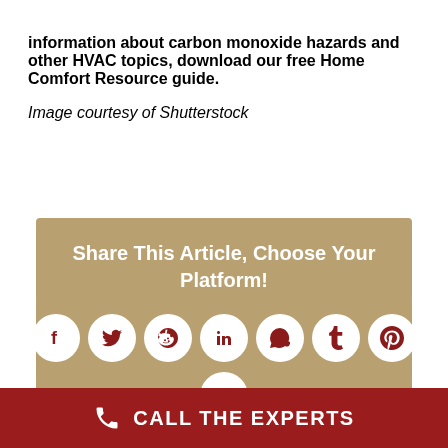information about carbon monoxide hazards and other HVAC topics, download our free Home Comfort Resource guide.
Image courtesy of Shutterstock
[Figure (infographic): Share This Article social media sharing widget with circular icons for Facebook, Twitter, Reddit, LinkedIn, WhatsApp, Tumblr, Pinterest, and Email on a tan/khaki background]
CALL THE EXPERTS